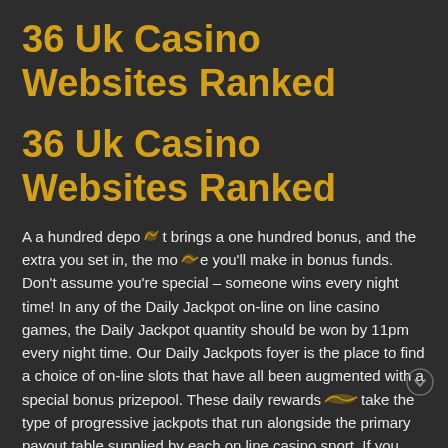36 Uk Casino Websites Ranked
36 Uk Casino Websites Ranked
A a hundred deposit brings a one hundred bonus, and the extra you set in, the more you'll make in bonus funds. Don't assume you're special – someone wins every night time! In any of the Daily Jackpot on-line on line casino games, the Daily Jackpot quantity should be won by 11pm every night time. Our Daily Jackpots foyer is the place to find a choice of on-line slots that have all been augmented with a special bonus prizepool. These daily rewards take the type of progressive jackpots that run alongside the primary payout table supplied by each on line casino sport. If you fancy a crack at one of our lucrative Daily